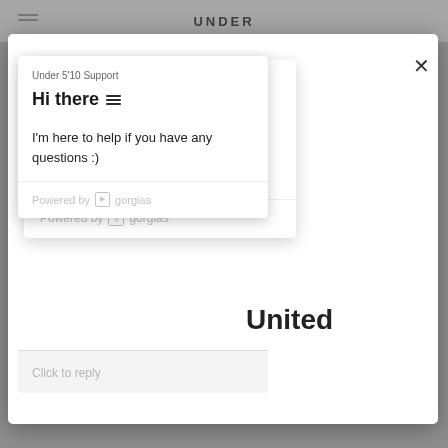[Figure (screenshot): Screenshot of an e-commerce website (Under 5'10) with a chat support widget popup open. The chat popup shows 'Under 5’10 Support', 'Hi there' with a hamburger icon, and a message 'I’m here to help if you have any questions :)' powered by Gorgias. Behind it, a modal overlay shows 'United' text, a 'Get shipping options for United States' line, a 'Shop now' dark button with an X close button, and a 'Change shipping country' link. At the bottom background text reads 'elongating your look and focusing the attention'.]